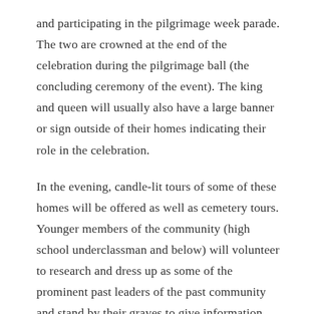and participating in the pilgrimage week parade. The two are crowned at the end of the celebration during the pilgrimage ball (the concluding ceremony of the event). The king and queen will usually also have a large banner or sign outside of their homes indicating their role in the celebration.
In the evening, candle-lit tours of some of these homes will be offered as well as cemetery tours. Younger members of the community (high school underclassman and below) will volunteer to research and dress up as some of the prominent past leaders of the past community and stand by their graves to give information and tell stories to passerby. These tours are held after sun down and lead by candlelight.
Context/Significance: